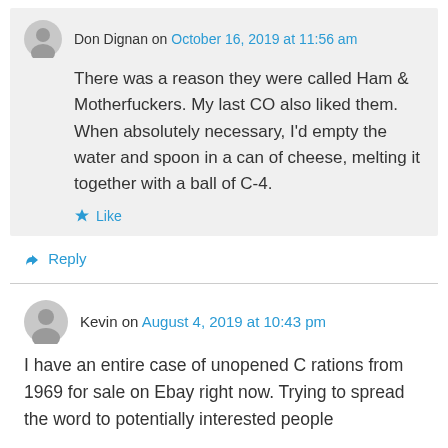Don Dignan on October 16, 2019 at 11:56 am
There was a reason they were called Ham & Motherfuckers. My last CO also liked them. When absolutely necessary, I'd empty the water and spoon in a can of cheese, melting it together with a ball of C-4.
Like
Reply
Kevin on August 4, 2019 at 10:43 pm
I have an entire case of unopened C rations from 1969 for sale on Ebay right now. Trying to spread the word to potentially interested people